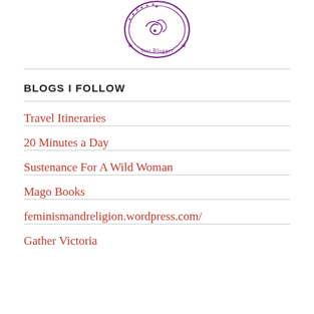[Figure (logo): Star Blogger badge/seal with ornate circular design featuring swirls and stars, in purple]
BLOGS I FOLLOW
Travel Itineraries
20 Minutes a Day
Sustenance For A Wild Woman
Mago Books
feminismandreligion.wordpress.com/
Gather Victoria